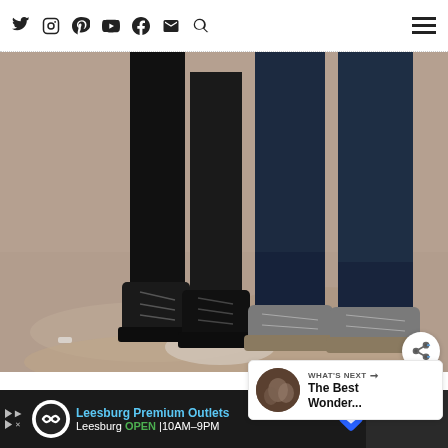Social media navigation bar with Twitter, Instagram, Pinterest, YouTube, Facebook, Email, Search icons and hamburger menu
[Figure (photo): Close-up photo of two people standing on a concrete/dirt surface. Left person wearing black leggings and black lace-up ankle boots. Right person wearing dark navy blue pants and grey suede lace-up sneakers with gum soles. Only the legs and feet are visible.]
[Figure (screenshot): Share button (circular white button with share icon) and a 'WHAT'S NEXT' recommendation card showing a thumbnail image and text 'The Best Wonder...']
[Figure (infographic): Advertisement bar for Leesburg Premium Outlets showing logo, text 'Leesburg Premium Outlets', 'Leesburg OPEN 10AM-9PM', navigation arrow icon, and a secondary dark panel on the right]